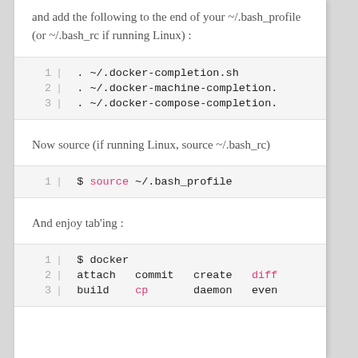and add the following to the end of your ~/.bash_profile (or ~/.bash_rc if running Linux) :
[Figure (screenshot): Code block showing 3 lines: 1: . ~/.docker-completion.sh  2: . ~/.docker-machine-completion.  3: . ~/.docker-compose-completion.]
Now source (if running Linux, source ~/.bash_rc)
[Figure (screenshot): Code block with 1 line: $ source ~/.bash_profile]
And enjoy tab'ing :
[Figure (screenshot): Code block showing: 1: $ docker  2: attach   commit   create   diff  3: build    cp       daemon   even]